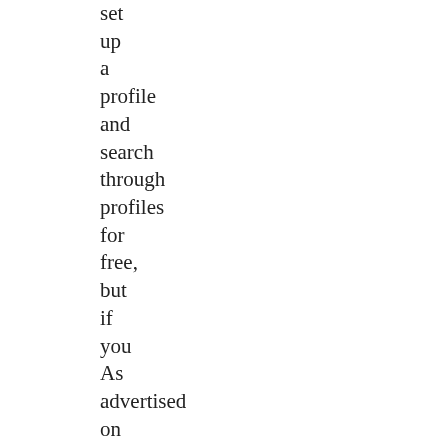set up a profile and search through profiles for free, but if you As advertised on their many TV commercials, OurTime is for people 50 years